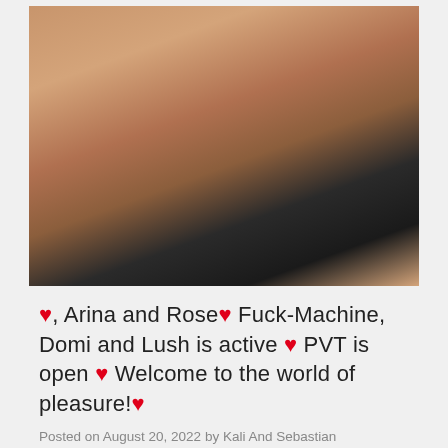[Figure (photo): Close-up photo of a person wearing black stockings, torso visible, hands crossed over midsection, warm skin tones with dark lower half]
♥, Arina and Rose♥ Fuck-Machine, Domi and Lush is active ♥ PVT is open ♥ Welcome to the world of pleasure!♥
Posted on August 20, 2022 by Kali And Sebastian